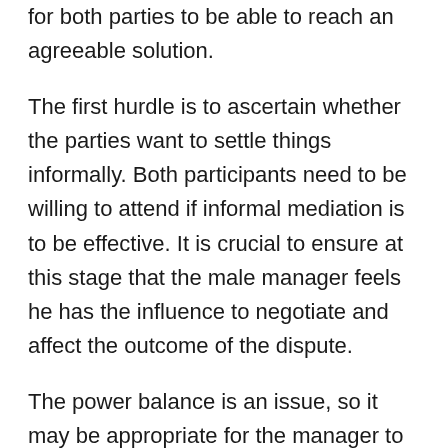for both parties to be able to reach an agreeable solution.
The first hurdle is to ascertain whether the parties want to settle things informally. Both participants need to be willing to attend if informal mediation is to be effective. It is crucial to ensure at this stage that the male manager feels he has the influence to negotiate and affect the outcome of the dispute.
The power balance is an issue, so it may be appropriate for the manager to ask a willing colleague who is in a position of authority to the board director to attend.
Second, it is vital to ensure that both parties are told exactly what will be recorded on their personnel files. For example, as mediation is an informal and voluntary intervention, it is best if it can be kept, the fact that